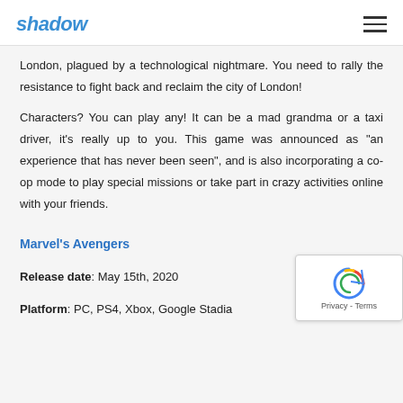shadow
London, plagued by a technological nightmare. You need to rally the resistance to fight back and reclaim the city of London!
Characters? You can play any! It can be a mad grandma or a taxi driver, it's really up to you. This game was announced as "an experience that has never been seen", and is also incorporating a co-op mode to play special missions or take part in crazy activities online with your friends.
Marvel's Avengers
Release date: May 15th, 2020
Platform: PC, PS4, Xbox, Google Stadia